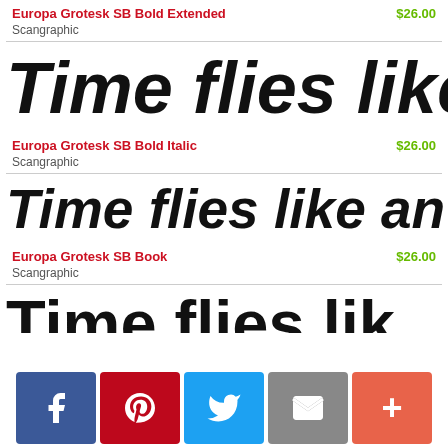Europa Grotesk SB Bold Extended  $26.00
Scangraphic
[Figure (other): Large bold italic preview text 'Time flies like ar' (truncated) in Europa Grotesk SB Bold Extended]
Europa Grotesk SB Bold Italic  $26.00
Scangraphic
[Figure (other): Large bold italic preview text 'Time flies like an a' (truncated) in Europa Grotesk SB Bold Italic]
Europa Grotesk SB Book  $26.00
Scangraphic
[Figure (other): Large book weight preview text 'Ti... fli... lik...' (truncated) partially visible at bottom]
[Figure (other): Social sharing bar with Facebook, Pinterest, Twitter, Email, and More (+) buttons]